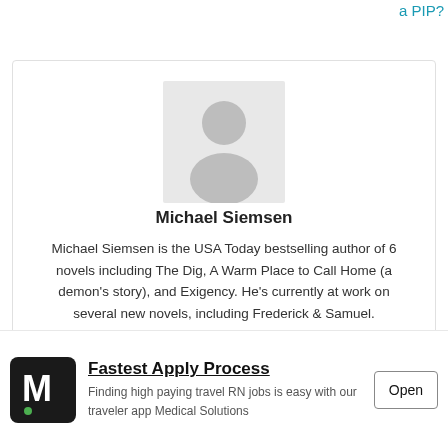a PIP?
[Figure (illustration): Generic avatar placeholder — grey silhouette of a person on light grey background]
Michael Siemsen
Michael Siemsen is the USA Today bestselling author of 6 novels including The Dig, A Warm Place to Call Home (a demon's story), and Exigency. He's currently at work on several new novels, including Frederick & Samuel.
[Figure (logo): Medical Solutions logo — white M letter with green dot on black square background]
Fastest Apply Process
Finding high paying travel RN jobs is easy with our traveler app Medical Solutions
Open